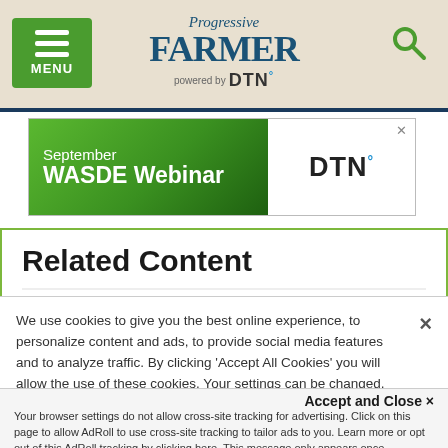Progressive Farmer powered by DTN — MENU | Search
[Figure (screenshot): September WASDE Webinar advertisement banner for DTN]
Related Content
Global Stock...After Fed So...US Sto...Too Hi... (partially visible)
We use cookies to give you the best online experience, to personalize content and ads, to provide social media features and to analyze traffic. By clicking 'Accept All Cookies' you will allow the use of these cookies. Your settings can be changed, including withdrawing your consent at any time, by clicking 'Cookie Settings'. Find out more on how we and third parties use cookies in our Cookie Policy
Accept and Close ×
Your browser settings do not allow cross-site tracking for advertising. Click on this page to allow AdRoll to use cross-site tracking to tailor ads to you. Learn more or opt out of this AdRoll tracking by clicking here. This message only appears once.